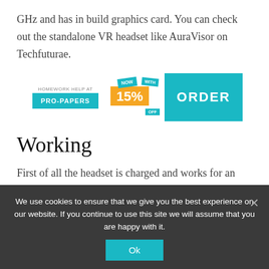GHz and has in build graphics card. You can check out the standalone VR headset like AuraVisor on Techfuturae.
[Figure (infographic): Pro-Papers advertisement banner with 'HOMEWORK HELP AT PRO-PAPERS', '15% OFF' badge and 'ORDER' button in teal]
Working
First of all the headset is charged and works for an estimated of 4 to 5 hours and we have to load software through wifi and that’s it that simple to use but sometimes we prefer
not then sure the AuraVisor has a lot for controls you have same built in buttons on AuraVisor
We use cookies to ensure that we give you the best experience on our website. If you continue to use this site we will assume that you are happy with it.